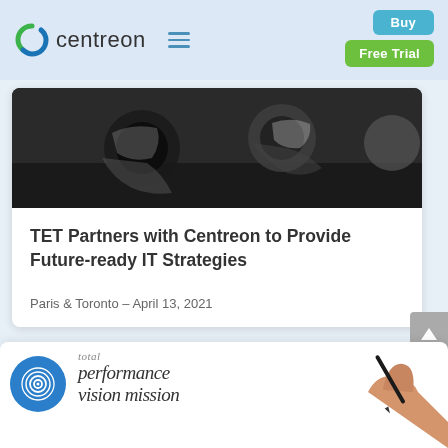centreon
[Figure (screenshot): Centreon website navigation header with logo, hamburger menu icon, Buy button (blue), and Free Trial button (green) on a light blue background]
[Figure (photo): Overhead view of people at a meeting table, dark tones]
TET Partners with Centreon to Provide Future-ready IT Strategies
Paris & Toronto – April 13, 2021
[Figure (screenshot): Partial view of a second article card showing a blue circular fingerprint icon and handwritten-style text reading 'performance vision mission']